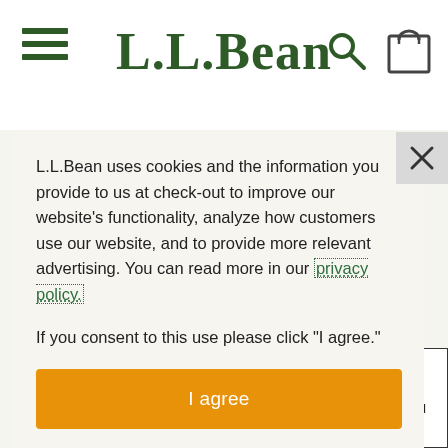[Figure (logo): L.L.Bean website header with hamburger menu icon on left, L.L.Bean logo in center in dark green serif font, search icon and bag icon on right]
L.L.Bean uses cookies and the information you provide to us at check-out to improve our website’s functionality, analyze how customers use our website, and to provide more relevant advertising. You can read more in our privacy policy.
If you consent to this use please click “I agree.”
I agree
RETURN
TO TOP